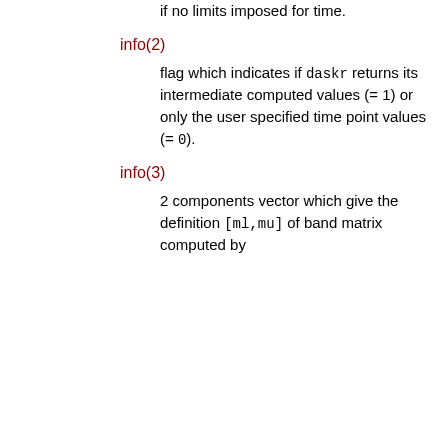if no limits imposed for time.
info(2)
flag which indicates if daskr returns its intermediate computed values (= 1) or only the user specified time point values (= 0).
info(3)
2 components vector which give the definition [ml,mu] of band matrix computed by